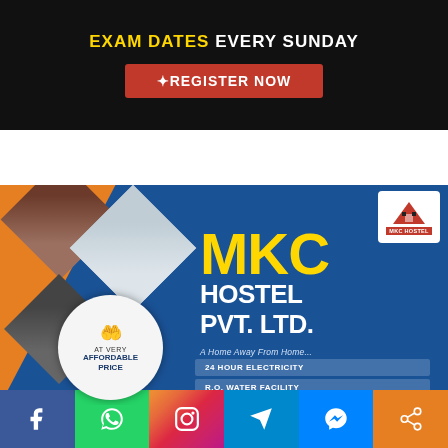[Figure (infographic): Top banner advertisement: dark background with text 'EXAM DATES EVERY SUNDAY' and a red 'REGISTER NOW' button]
[Figure (infographic): MKC HOSTEL PVT. LTD. advertisement banner on blue background with orange accent, diamond-shaped photos of hostel rooms, a circle badge saying 'AT VERY AFFORDABLE PRICE', yellow MKC text, white HOSTEL PVT. LTD. text, tagline 'A Home Away From Home...', features '24 HOUR ELECTRICITY' and 'R.O. WATER FACILITY', MKC Hostel logo in top right]
[Figure (infographic): Social media share bar at bottom with Facebook, WhatsApp, Instagram, Telegram, Messenger, and Share icons]